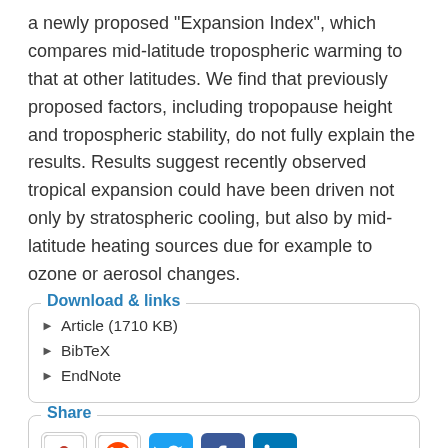a newly proposed "Expansion Index", which compares mid-latitude tropospheric warming to that at other latitudes. We find that previously proposed factors, including tropopause height and tropospheric stability, do not fully explain the results. Results suggest recently observed tropical expansion could have been driven not only by stratospheric cooling, but also by mid-latitude heating sources due for example to ozone or aerosol changes.
Download & links
Article (1710 KB)
BibTeX
EndNote
Share
[Figure (other): Social sharing buttons: Mendeley, Reddit, Twitter, Facebook, LinkedIn]
How to cite. Allen, R. J., Sherwood, S. C., Norris, J. R., and